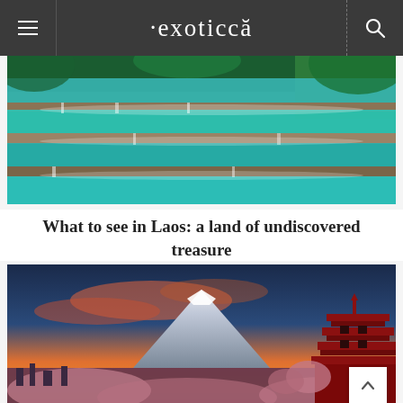exoticca
[Figure (photo): Turquoise tiered waterfalls with lush tropical greenery in Laos]
What to see in Laos: a land of undiscovered treasure
[Figure (photo): Mount Fuji with a red Japanese pagoda at sunset, cherry blossoms in foreground]